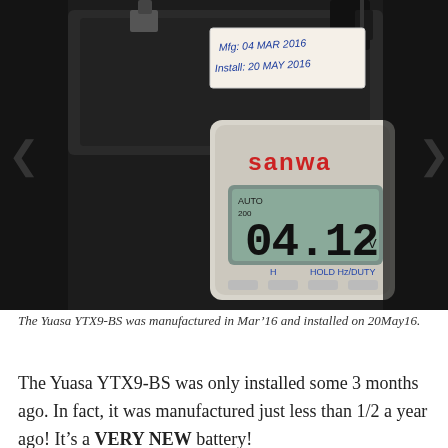[Figure (photo): Photo of a motorcycle battery with a handwritten label reading 'Mfg: 04 MAR 2016, Install: 20 MAY 2016' and a Sanwa digital multimeter showing a reading of 04.12 V.]
The Yuasa YTX9-BS was manufactured in Mar'16 and installed on 20May16.
The Yuasa YTX9-BS was only installed some 3 months ago. In fact, it was manufactured just less than 1/2 a year ago! It's a VERY NEW battery!